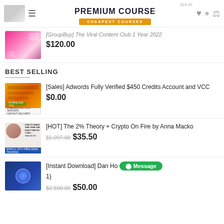PREMIUM COURSE — CHEAPEST COURSES
[GroupBuy] The Viral Content Club 1 Year 2022
$120.00
BEST SELLING
[Sales] Adwords Fully Verified $450 Credits Account and VCC
$0.00
[HOT] The 2% Theory + Crypto On Fire by Anna Macko
$1,997.00  $35.50
[Instant Download] Dan Ho... (1)
$2,500.00  $50.00